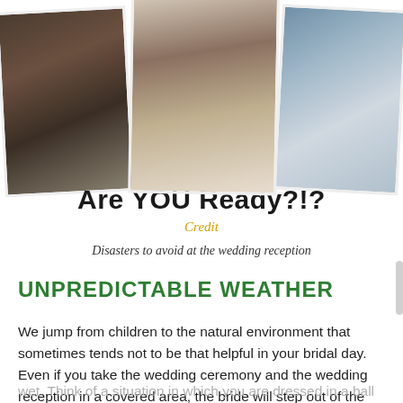[Figure (photo): Three polaroid-style photos at the top: left shows a man in a tuxedo with strawberries, center shows a bride with a surprised expression, right shows a girl with a white bow]
Are YOU Ready?!?
Credit
Disasters to avoid at the wedding reception
UNPREDICTABLE WEATHER
We jump from children to the natural environment that sometimes tends not to be that helpful in your bridal day. Even if you take the wedding ceremony and the wedding reception in a covered area, the bride will step out of the car under the open air and her gown mustn't be destroyed or wet. Think of a situation in which you are dressed in a ball wedding gown that is designed in princess style and you